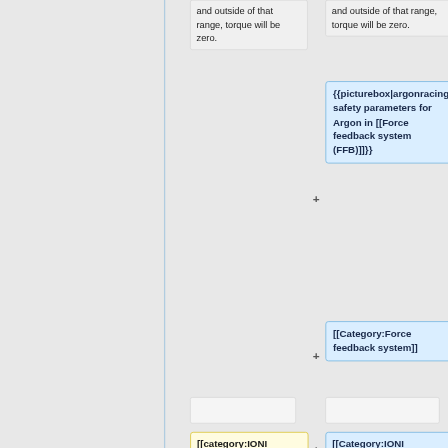and outside of that range, torque will be zero.
and outside of that range, torque will be zero.
{{picturebox|argonracingsafetyparams.png|326px|caption=Example safety parameters for Argon in [[Force feedback system (FFB)]]}}
[[Category:Force feedback system]]
[[category:IONI features]]
[[Category:IONI features]]